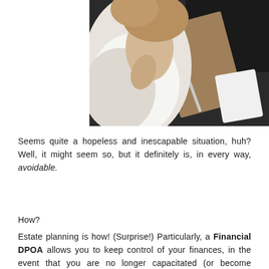[Figure (photo): Overhead photo of a woman sitting, wearing a white top and light jacket, with a spiral notebook, pen, and phone on a dark surface beside her.]
Seems quite a hopeless and inescapable situation, huh? Well, it might seem so, but it definitely is, in every way, avoidable.
How?
Estate planning is how! (Surprise!) Particularly, a Financial DPOA allows you to keep control of your finances, in the event that you are no longer capacitated (or become temporarily incapacitated) to do things on your own